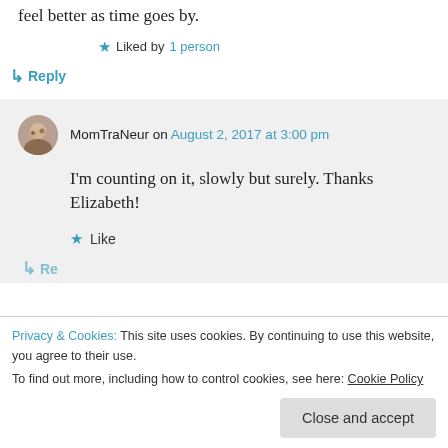feel better as time goes by.
★ Liked by 1 person
↳ Reply
MomTraNeur on August 2, 2017 at 3:00 pm
I'm counting on it, slowly but surely. Thanks Elizabeth!
★ Like
↳ Reply
Privacy & Cookies: This site uses cookies. By continuing to use this website, you agree to their use. To find out more, including how to control cookies, see here: Cookie Policy
Close and accept